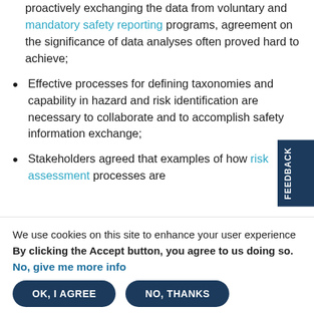proactively exchanging the data from voluntary and mandatory safety reporting programs, agreement on the significance of data analyses often proved hard to achieve;
Effective processes for defining taxonomies and capability in hazard and risk identification are necessary to collaborate and to accomplish safety information exchange;
Stakeholders agreed that examples of how risk assessment processes are [truncated]
We use cookies on this site to enhance your user experience
By clicking the Accept button, you agree to us doing so.
No, give me more info